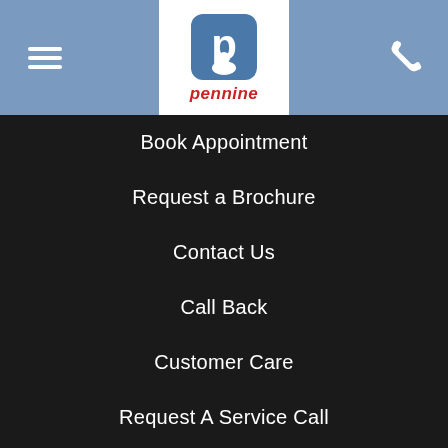[Figure (logo): Pennine company logo with blue P icon and red italic pennine text]
Book Appointment
Request a Brochure
Contact Us
Call Back
Customer Care
Request A Service Call
LEGAL
Explore Legal
Privacy Policy
Cookie Policy